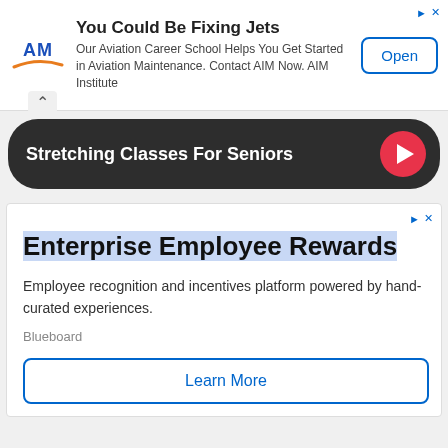[Figure (infographic): AIM Institute ad banner with logo, title 'You Could Be Fixing Jets', body text about Aviation Career School, and Open button]
You Could Be Fixing Jets
Our Aviation Career School Helps You Get Started in Aviation Maintenance. Contact AIM Now. AIM Institute
[Figure (infographic): Dark pill-shaped video bar with text 'Stretching Classes For Seniors' and a red play button]
Stretching Classes For Seniors
[Figure (infographic): Enterprise Employee Rewards ad card with title, description, Blueboard label, and Learn More button]
Enterprise Employee Rewards
Employee recognition and incentives platform powered by hand-curated experiences.
Blueboard
Learn More